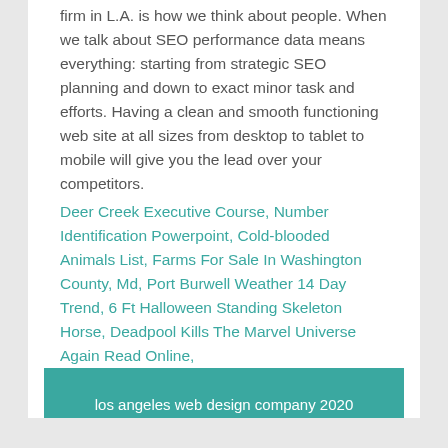firm in L.A. is how we think about people. When we talk about SEO performance data means everything: starting from strategic SEO planning and down to exact minor task and efforts. Having a clean and smooth functioning web site at all sizes from desktop to tablet to mobile will give you the lead over your competitors.
Deer Creek Executive Course, Number Identification Powerpoint, Cold-blooded Animals List, Farms For Sale In Washington County, Md, Port Burwell Weather 14 Day Trend, 6 Ft Halloween Standing Skeleton Horse, Deadpool Kills The Marvel Universe Again Read Online,
los angeles web design company 2020